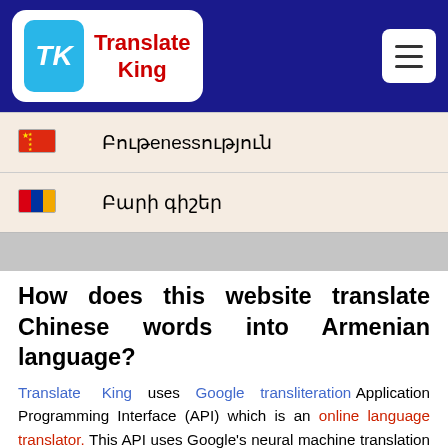Translate King — website header with logo and menu button
| 🇨🇳 | Բութeness |
| 🇦🇲 | Բարի գիշեր |
How does this website translate Chinese words into Armenian language?
Translate King uses Google transliteration Application Programming Interface (API) which is an online language translator. This API uses Google's neural machine translation that can translate a sentence into 100+ languages. It is the most accurate and widely used tool among all other language conversion tools.